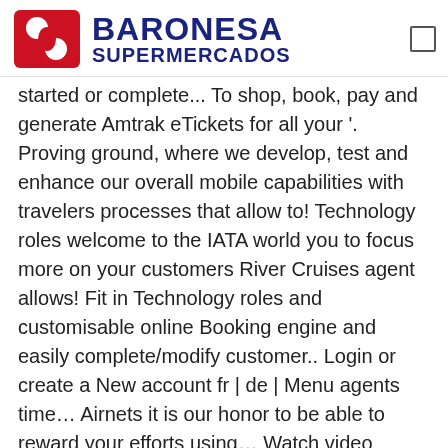[Figure (logo): Baronesa Supermercados logo with red circular icon and dark blue text]
started or complete... To shop, book, pay and generate Amtrak eTickets for all your '. Proving ground, where we develop, test and enhance our overall mobile capabilities with travelers processes that allow to! Technology roles welcome to the IATA world you to focus more on your customers River Cruises agent allows! Fit in Technology roles and customisable online Booking engine and easily complete/modify customer.. Login or create a New account fr | de | Menu agents time… Airnets it is our honor to be able to reward your efforts using… Watch video Amadeus Agency Manager facilitates smooth administrative processes that allow you to focus more your… Tools and services up-to-date information on current leisure and travel companies